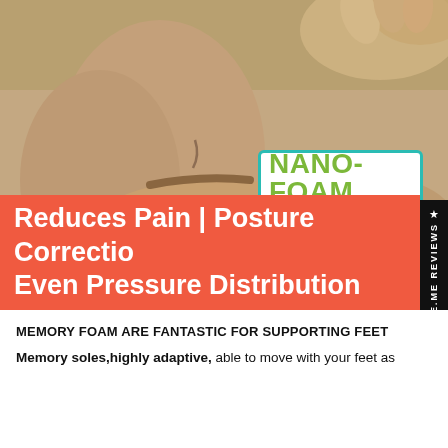[Figure (photo): Close-up photo of a person's foot wearing an orthopedic sandal with a contoured sole, hands visible adjusting the sandal, on a light background]
NANO-FOAM
Comfy & Enhanced Suppo
Reduces Pain | Posture Correction Even Pressure Distribution
MEMORY FOAM ARE FANTASTIC FOR SUPPORTING FEET
Memory soles,highly adaptive, able to move with your feet as